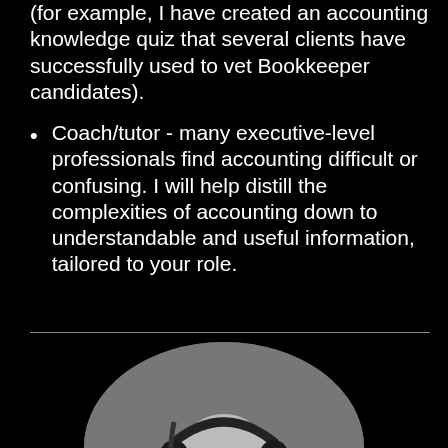(for example, I have created an accounting knowledge quiz that several clients have successfully used to vet Bookkeeper candidates).
Coach/tutor - many executive-level professionals find accounting difficult or confusing. I will help distill the complexities of accounting down to understandable and useful information, tailored to your role.
[Figure (photo): Black and white oval portrait photo of a smiling bald man wearing headphones and sitting in front of a podcasting microphone]